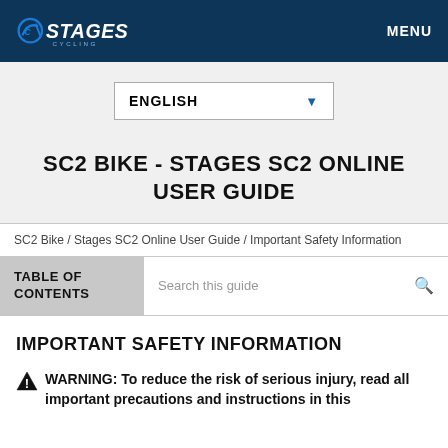STAGES CYCLING   MENU
ENGLISH
SC2 BIKE - STAGES SC2 ONLINE USER GUIDE
SC2 Bike / Stages SC2 Online User Guide / Important Safety Information
TABLE OF CONTENTS   Search this guide
IMPORTANT SAFETY INFORMATION
WARNING: To reduce the risk of serious injury, read all important precautions and instructions in this